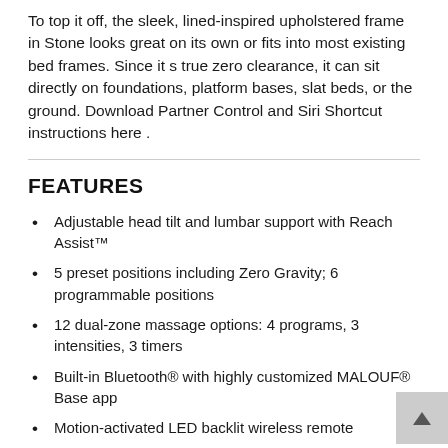To top it off, the sleek, lined-inspired upholstered frame in Stone looks great on its own or fits into most existing bed frames. Since it s true zero clearance, it can sit directly on foundations, platform bases, slat beds, or the ground. Download Partner Control and Siri Shortcut instructions here .
FEATURES
Adjustable head tilt and lumbar support with Reach Assist™
5 preset positions including Zero Gravity; 6 programmable positions
12 dual-zone massage options: 4 programs, 3 intensities, 3 timers
Built-in Bluetooth® with highly customized MALOUF® Base app
Motion-activated LED backlit wireless remote